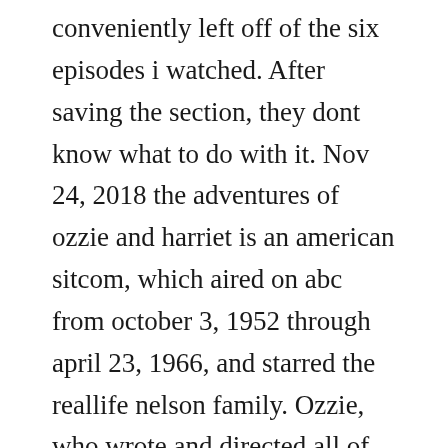conveniently left off of the six episodes i watched. After saving the section, they dont know what to do with it. Nov 24, 2018 the adventures of ozzie and harriet is an american sitcom, which aired on abc from october 3, 1952 through april 23, 1966, and starred the reallife nelson family. Ozzie, who wrote and directed all of the seriess episodes, attempted to alter the series. From the original 16mm print, this is from season 14 episode 20, that aired february 12th, 1966. Harriet and the boys are busy, so ozzie promises to look after